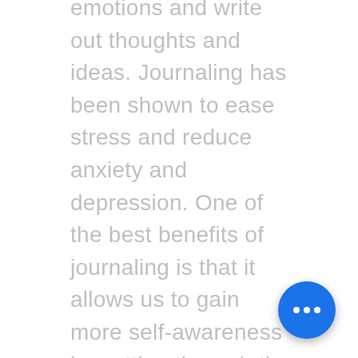emotions and write out thoughts and ideas. Journaling has been shown to ease stress and reduce anxiety and depression. One of the best benefits of journaling is that it allows us to gain more self-awareness by cutting through the mental clutter and providing insight. Journaling will enable you to organize your thoughts, process your emotions, and relieve stress. Self-reflection and self-awareness enhance your ability to honour your feelings, see your thoughts, and reflect on your values. Allow yourself to write freely. Use journaling as an excellent tool to identify things that might be going under the radar in your mind. Journaling is lovely because it's never judgmental, and it offers clarity and awareness while helping you with a